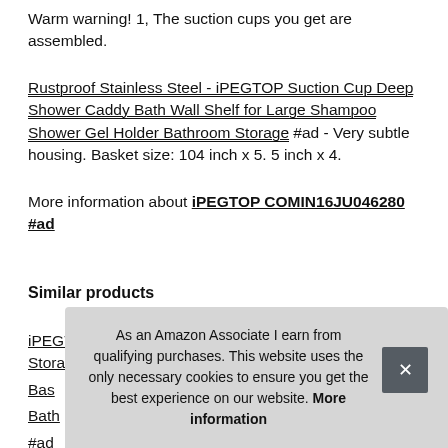Warm warning! 1, The suction cups you get are assembled.
Rustproof Stainless Steel - iPEGTOP Suction Cup Deep Shower Caddy Bath Wall Shelf for Large Shampoo Shower Gel Holder Bathroom Storage #ad - Very subtle housing. Basket size: 104 inch x 5. 5 inch x 4.
More information about iPEGTOP COMIN16JU046280 #ad
Similar products
iPEGTOP Vacuum Suction Cup Shower Caddy Shelf Storage Bas... Bath... #ad
HAS... Holder for Towel, Robe and Loofah - Stainless Steel Hooks for...
As an Amazon Associate I earn from qualifying purchases. This website uses the only necessary cookies to ensure you get the best experience on our website. More information